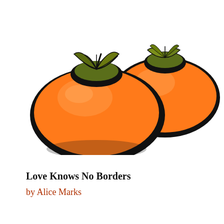[Figure (illustration): Illustration of two orange persimmon fruits with dark outlines and green leafy tops, positioned in the upper portion of the page on a white background.]
Love Knows No Borders
by Alice Marks